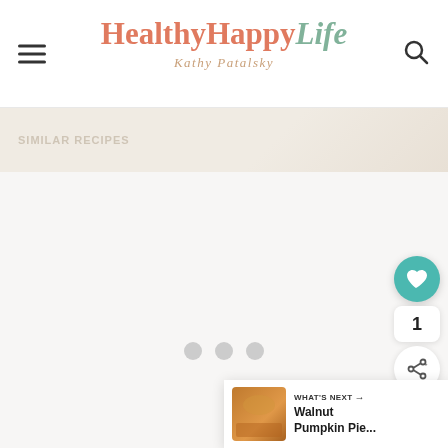Healthy Happy Life — Kathy Patalsky
[Figure (photo): Partial top image strip showing a light beige/cream background with faint text overlay, partial food blog article header image]
[Figure (screenshot): Main content area with loading state showing three gray dots indicating content loading]
[Figure (infographic): What's Next card showing a thumbnail of Walnut Pumpkin Pie with text 'WHAT'S NEXT → Walnut Pumpkin Pie...']